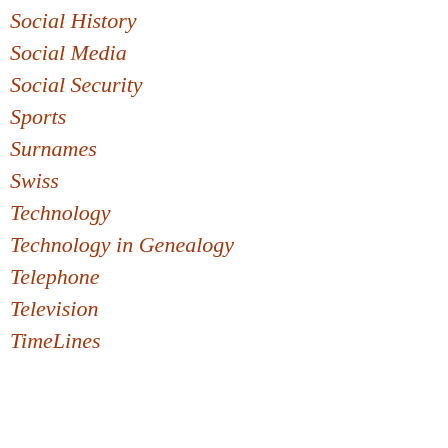Social History
Social Media
Social Security
Sports
Surnames
Swiss
Technology
Technology in Genealogy
Telephone
Television
TimeLines